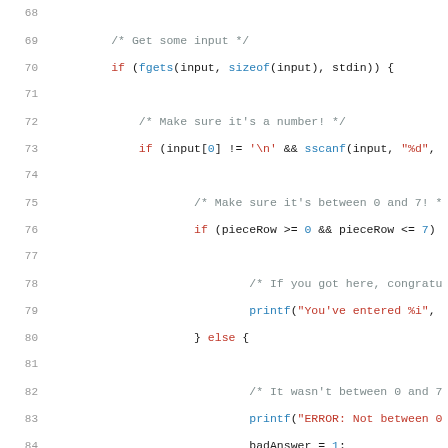C source code listing, lines 68–88, showing input validation logic with fgets, sscanf, printf, and conditional checks for numeric range 0–7.